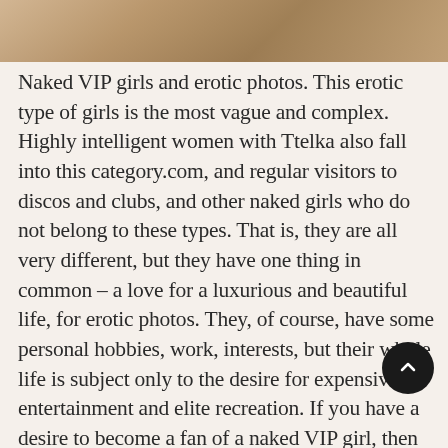[Figure (photo): A partial photo strip at the top of the page showing what appears to be a laptop or desk scene with warm brown/tan tones.]
Naked VIP girls and erotic photos. This erotic type of girls is the most vague and complex. Highly intelligent women with Ttelka also fall into this category.com, and regular visitors to discos and clubs, and other naked girls who do not belong to these types. That is, they are all very different, but they have one thing in common – a love for a luxurious and beautiful life, for erotic photos. They, of course, have some personal hobbies, work, interests, but their whole life is subject only to the desire for expensive entertainment and elite recreation. If you have a desire to become a fan of a naked VIP girl, then remember that to do this, your wallet must be so full that she will pay attention to you. And it is very, very difficult to win her attention and attract her to view erotic photos. The probability of seeing her naked is directly